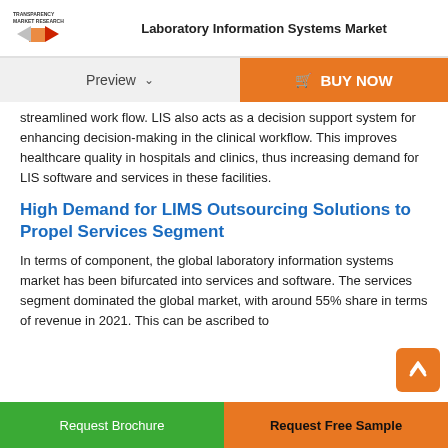Laboratory Information Systems Market
streamlined work flow. LIS also acts as a decision support system for enhancing decision-making in the clinical workflow. This improves healthcare quality in hospitals and clinics, thus increasing demand for LIS software and services in these facilities.
High Demand for LIMS Outsourcing Solutions to Propel Services Segment
In terms of component, the global laboratory information systems market has been bifurcated into services and software. The services segment dominated the global market, with around 55% share in terms of revenue in 2021. This can be ascribed to
Request Brochure | Request Free Sample